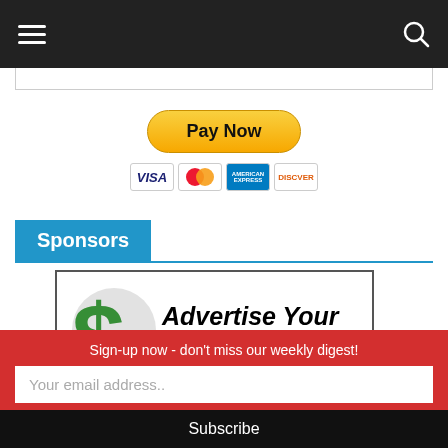Navigation bar with hamburger menu and search icon
[Figure (screenshot): PayPal Pay Now button with credit card logos (Visa, Mastercard, Amex, Discover)]
Sponsors
[Figure (illustration): Advertise Your Business Here! banner with green dollar sign graphic]
Sign-up now - don't miss our weekly digest!
Your email address..
Subscribe